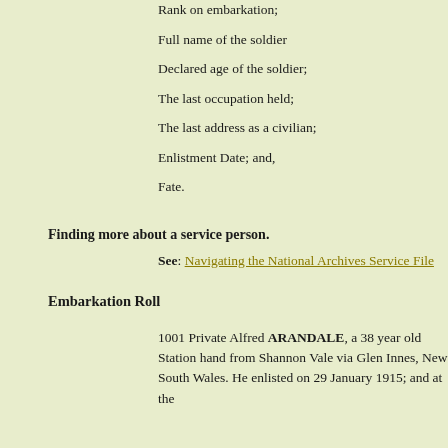Rank on embarkation;
Full name of the soldier
Declared age of the soldier;
The last occupation held;
The last address as a civilian;
Enlistment Date; and,
Fate.
Finding more about a service person.
See: Navigating the National Archives Service File
Embarkation Roll
1001 Private Alfred ARANDALE, a 38 year old Station hand from Shannon Vale via Glen Innes, New South Wales. He enlisted on 29 January 1915; and at the